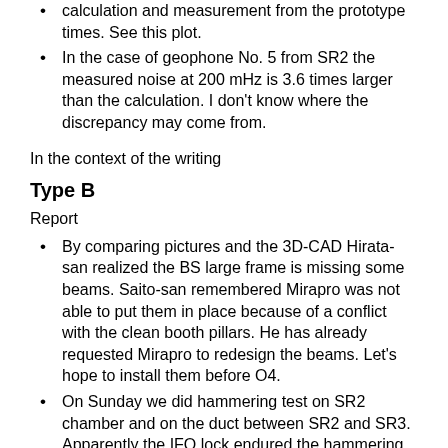calculation and measurement from the prototype times. See this plot.
In the case of geophone No. 5 from SR2 the measured noise at 200 mHz is 3.6 times larger than the calculation. I don't know where the discrepancy may come from.
In the context of the writing
Type B
Report
By comparing pictures and the 3D-CAD Hirata-san realized the BS large frame is missing some beams. Saito-san remembered Mirapro was not able to put them in place because of a conflict with the clean booth pillars. He has already requested Mirapro to redesign the beams. Let's hope to install them before O4.
On Sunday we did hammering test on SR2 chamber and on the duct between SR2 and SR3. Apparently the IFO lock endured the hammering test but lost lock when we walked in front of the oplev. Looking more carefully to the data is required